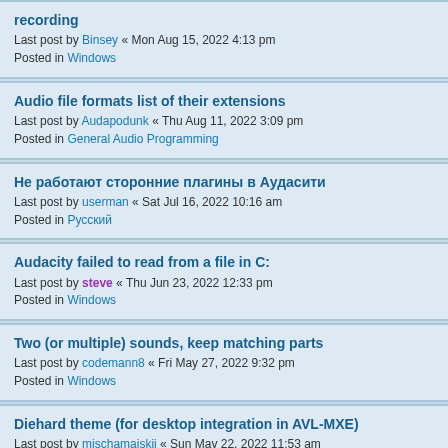recording
Last post by Binsey « Mon Aug 15, 2022 4:13 pm
Posted in Windows
Audio file formats list of their extensions
Last post by Audapodunk « Thu Aug 11, 2022 3:09 pm
Posted in General Audio Programming
Не работают сторонние плагины в Аудасити
Last post by userman « Sat Jul 16, 2022 10:16 am
Posted in Русский
Audacity failed to read from a file in C:
Last post by steve « Thu Jun 23, 2022 12:33 pm
Posted in Windows
Two (or multiple) sounds, keep matching parts
Last post by codemann8 « Fri May 27, 2022 9:32 pm
Posted in Windows
Diehard theme (for desktop integration in AVL-MXE)
Last post by mischamajskij « Sun May 22, 2022 11:53 am
Posted in Audacity Artwork and Graphics
None of my aup files will open
Last post by lmichie63@gmail.com « Sat May 21, 2022 9:03 pm
Posted in Windows
Cursor not snapping correctly to the end of tracks
Last post by fixthisbugpls « Fri May 20, 2022 5:23 pm
Posted in Windows
Audacity for Android
Last post by Jayboy « Tue May 17, 2022 10:29 pm
Posted in ...